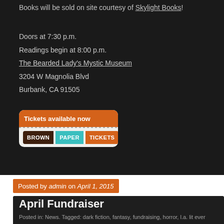Books will be sold on site courtesy of Skylight Books!
Doors at 7:30 p.m.
Readings begin at 8:00 p.m.
The Bearded Lady's Mystic Museum
3204 W Magnolia Blvd
Burbank, CA 91505
[Figure (other): Brown Paper Tickets widget with orange 'Tickets available now' header and the Brown Paper Tickets logo in three colored segments]
Posted by admin on April 1, 2015
April Fundraiser
Posted in: News. Tagged: dark fiction, fantasy, fundraising, horror, l.a. lit ever